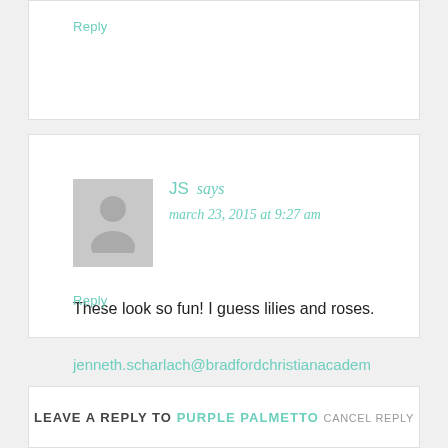Reply
JS says
march 23, 2015 at 9:27 am
These look so fun! I guess lilies and roses.
jenneth.scharlach@bradfordchristianacademy.org
Reply
LEAVE A REPLY TO PURPLE PALMETTO CANCEL REPLY